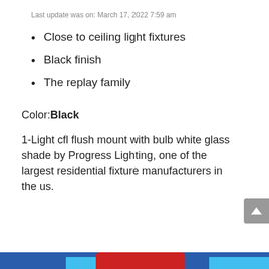Last update was on: March 17, 2022 7:59 am
Close to ceiling light fixtures
Black finish
The replay family
Color:Black
1-Light cfl flush mount with bulb white glass shade by Progress Lighting, one of the largest residential fixture manufacturers in the us.